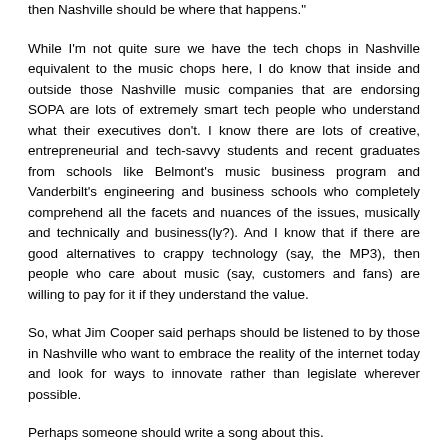then Nashville should be where that happens."
While I'm not quite sure we have the tech chops in Nashville equivalent to the music chops here, I do know that inside and outside those Nashville music companies that are endorsing SOPA are lots of extremely smart tech people who understand what their executives don't. I know there are lots of creative, entrepreneurial and tech-savvy students and recent graduates from schools like Belmont's music business program and Vanderbilt's engineering and business schools who completely comprehend all the facets and nuances of the issues, musically and technically and business(ly?). And I know that if there are good alternatives to crappy technology (say, the MP3), then people who care about music (say, customers and fans) are willing to pay for it if they understand the value.
So, what Jim Cooper said perhaps should be listened to by those in Nashville who want to embrace the reality of the internet today and look for ways to innovate rather than legislate wherever possible.
Perhaps someone should write a song about this.